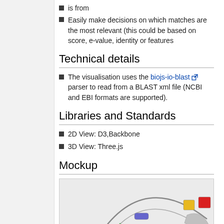is from
Easily make decisions on which matches are the most relevant (this could be based on score, e-value, identity or features
Technical details
The visualisation uses the biojs-io-blast parser to read from a BLAST xml file (NCBI and EBI formats are supported).
Libraries and Standards
2D View: D3,Backbone
3D View: Three.js
Mockup
[Figure (illustration): Hand-drawn sketch/mockup of a circular BLAST visualisation with colored segments (red, yellow, green, blue, gray) arranged in a ring shape]